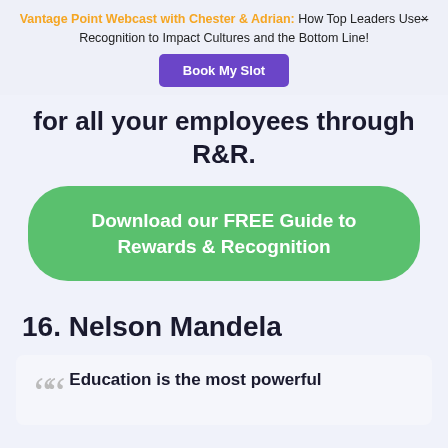Vantage Point Webcast with Chester & Adrian: How Top Leaders Use Recognition to Impact Cultures and the Bottom Line! Book My Slot
for all your employees through R&R.
[Figure (other): Green rounded button: Download our FREE Guide to Rewards & Recognition]
16. Nelson Mandela
Education is the most powerful